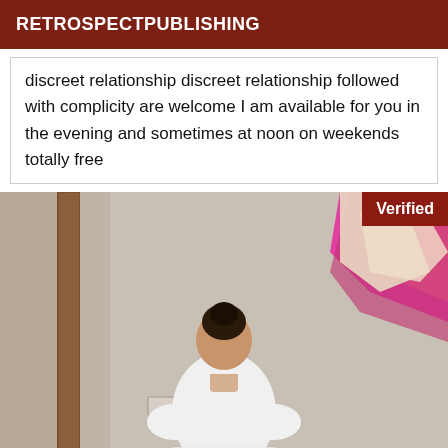RETROSPECTPUBLISHING
discreet relationship discreet relationship followed with complicity are welcome I am available for you in the evening and sometimes at noon on weekends totally free
[Figure (photo): A woman with dark hair in a bun wearing a white turtleneck top, viewed from behind, standing in a room with beige walls and a wooden door frame. Pink and beige fabric items visible in upper right. A 'Verified' badge in dark red is in the top right corner.]